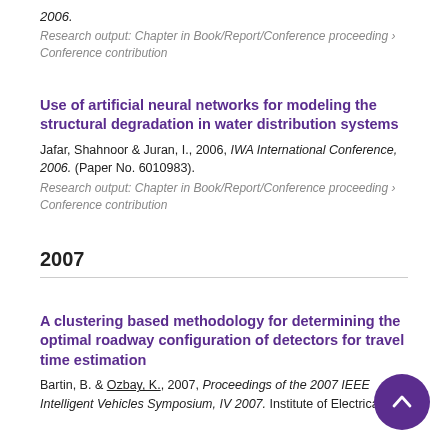2006.
Research output: Chapter in Book/Report/Conference proceeding › Conference contribution
Use of artificial neural networks for modeling the structural degradation in water distribution systems
Jafar, Shahnoor & Juran, I., 2006, IWA International Conference, 2006. (Paper No. 6010983).
Research output: Chapter in Book/Report/Conference proceeding › Conference contribution
2007
A clustering based methodology for determining the optimal roadway configuration of detectors for travel time estimation
Bartin, B. & Ozbay, K., 2007, Proceedings of the 2007 IEEE Intelligent Vehicles Symposium, IV 2007. Institute of Electrical